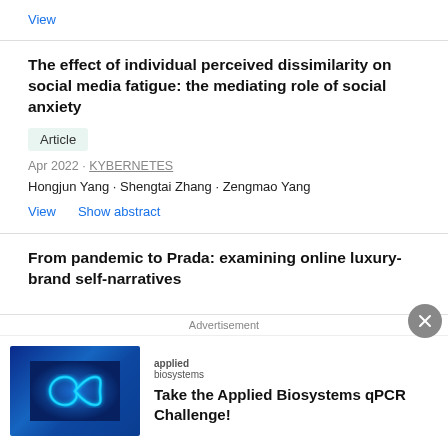View
The effect of individual perceived dissimilarity on social media fatigue: the mediating role of social anxiety
Article
Apr 2022 · KYBERNETES
Hongjun Yang · Shengtai Zhang · Zengmao Yang
View   Show abstract
From pandemic to Prada: examining online luxury-brand self-narratives
Advertisement
[Figure (logo): Applied Biosystems logo with infinity symbol on blue background]
applied biosystems
Take the Applied Biosystems qPCR Challenge!